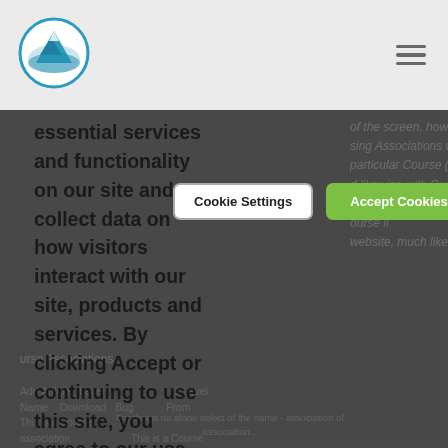[Figure (logo): Circular logo with mountain/landscape icon in teal/blue on white background]
essential services and functionality on our site and to collect data on how visitors interact with our site, products and services. By clicking Accept or continuing to use this site, you agree to our use of these tools for advertising and analytics
Cookie Settings
Accept Cookies